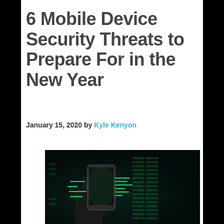6 Mobile Device Security Threats to Prepare For in the New Year
January 15, 2020 by Kyle Kenyon
[Figure (photo): A hand holding a smartphone with green digital code/data projections visible in the dark background, representing mobile cybersecurity threats.]